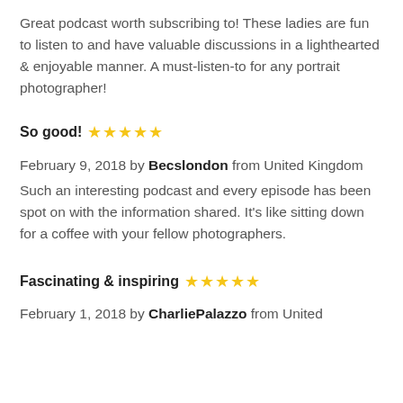Great podcast worth subscribing to! These ladies are fun to listen to and have valuable discussions in a lighthearted & enjoyable manner. A must-listen-to for any portrait photographer!
So good! ★★★★★
February 9, 2018 by Becslondon from United Kingdom
Such an interesting podcast and every episode has been spot on with the information shared. It's like sitting down for a coffee with your fellow photographers.
Fascinating & inspiring ★★★★★
February 1, 2018 by CharliePalazzo from United